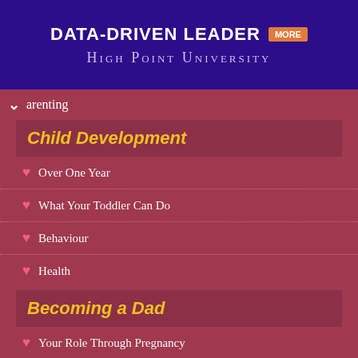[Figure (screenshot): High Point University advertisement banner with dark purple background, 'DATA-DRIVEN LEADER' in white bold text, orange 'MORE' button, and 'HIGH POINT UNIVERSITY' in light purple text below]
Parenting
Child Development
Over One Year
What Your Toddler Can Do
Behaviour
Health
Becoming a Dad
Your Role Through Pregnancy
Your Role At The Birth
What To Expect
Sharing The Load